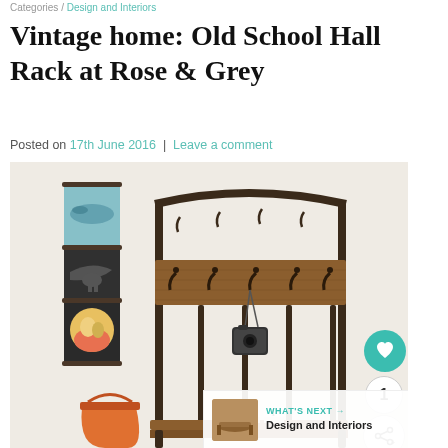Categories / Design and Interiors
Vintage home: Old School Hall Rack at Rose & Grey
Posted on 17th June 2016  |  Leave a comment
[Figure (photo): A vintage-style Old School Hall Rack with metal frame and wooden panel, featuring multiple coat hooks, photographed against a white brick wall with decorative educational posters on the left side. A camera bag hangs from one hook. Small numbered ceramic pots sit on the lower shelf. An orange bucket is visible at bottom left.]